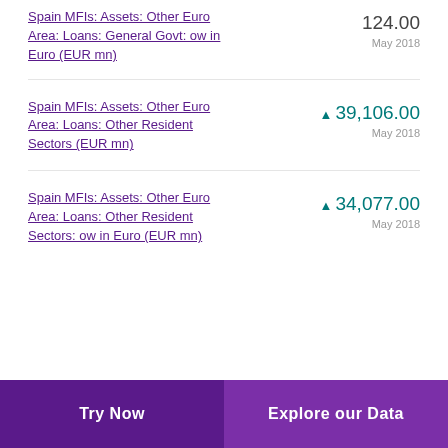Spain MFIs: Assets: Other Euro Area: Loans: General Govt: ow in Euro (EUR mn)
Spain MFIs: Assets: Other Euro Area: Loans: Other Resident Sectors (EUR mn)
Spain MFIs: Assets: Other Euro Area: Loans: Other Resident Sectors: ow in Euro (EUR mn)
Try Now | Explore our Data